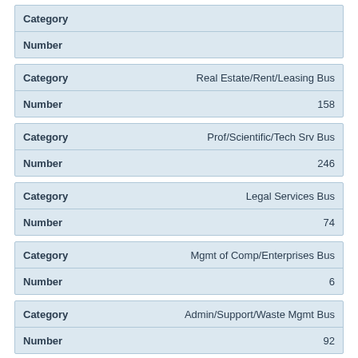| Category |  |
| --- | --- |
| Category |  |
| Number |  |
| Category | Real Estate/Rent/Leasing Bus |
| --- | --- |
| Category | Real Estate/Rent/Leasing Bus |
| Number | 158 |
| Category | Prof/Scientific/Tech Srv Bus |
| --- | --- |
| Category | Prof/Scientific/Tech Srv Bus |
| Number | 246 |
| Category | Legal Services Bus |
| --- | --- |
| Category | Legal Services Bus |
| Number | 74 |
| Category | Mgmt of Comp/Enterprises Bus |
| --- | --- |
| Category | Mgmt of Comp/Enterprises Bus |
| Number | 6 |
| Category | Admin/Support/Waste Mgmt Bus |
| --- | --- |
| Category | Admin/Support/Waste Mgmt Bus |
| Number | 92 |
| Category | Educational Services Bus |
| --- | --- |
| Category | Educational Services Bus |